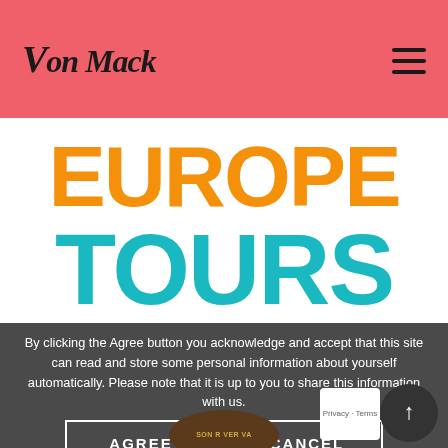Von Mack
[Figure (logo): Europe Tours logo with EUROPE in orange bold text and TOURS in teal/cyan bold text]
By clicking the Agree button you acknowledge and accept that this site can read and store some personal information about yourself automatically. Please note that it is up to you to share this information with us.
AGREE
CANCEL